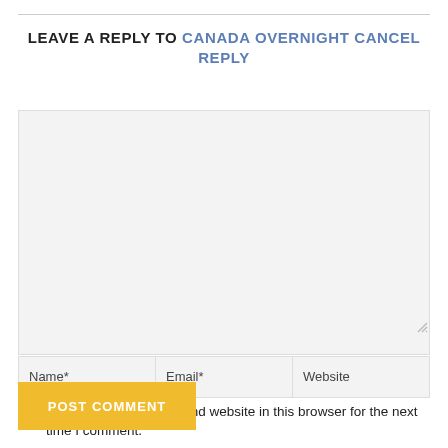LEAVE A REPLY TO CANADA OVERNIGHT CANCEL REPLY
[Figure (other): Comment text area input field (large, gray background)]
[Figure (other): Three inline form fields: Name*, Email*, Website]
Save my name, email, and website in this browser for the next time I comment.
POST COMMENT